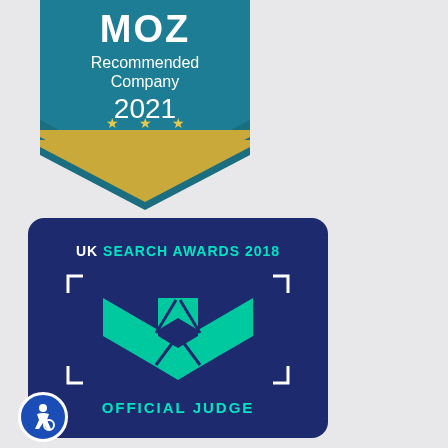[Figure (logo): MOZ Recommended Company 2021 badge - teal/dark blue pentagon shield shape with 'MOZ' at top in white bold letters, 'Recommended Company' below in white, '2021' in large white text, three gold stars at bottom, gold accent lines near bottom of shield]
[Figure (logo): UK Search Awards 2018 Official Judge badge - dark navy blue rounded rectangle, 'UK SEARCH AWARDS 2018' in cyan/teal text at top, bracket corner marks in white, large teal X cross symbol in center, 'OFFICIAL JUDGE' in cyan text at bottom. Blue circular accessibility icon with person in wheelchair in bottom-left corner.]